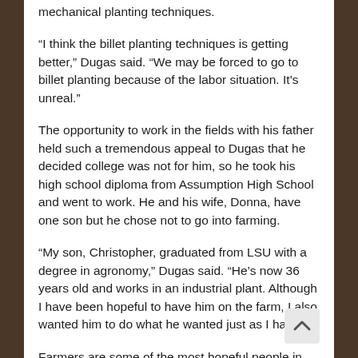mechanical planting techniques.
“I think the billet planting techniques is getting better,” Dugas said. “We may be forced to go to billet planting because of the labor situation. It’s unreal.”
The opportunity to work in the fields with his father held such a tremendous appeal to Dugas that he decided college was not for him, so he took his high school diploma from Assumption High School and went to work. He and his wife, Donna, have one son but he chose not to go into farming.
“My son, Christopher, graduated from LSU with a degree in agronomy,” Dugas said. “He’s now 36 years old and works in an industrial plant. Although I have been hopeful to have him on the farm, I also wanted him to do what he wanted just as I have.”
Farmers are some of the most hopeful people in the world and that’s what farming is all about.
Dugas sometimes enjoys working along on the wide-open spaces of his back acreage. It’s his place to meditate and put the nagging headaches of labor, costs and mechanical breakdowns aside.